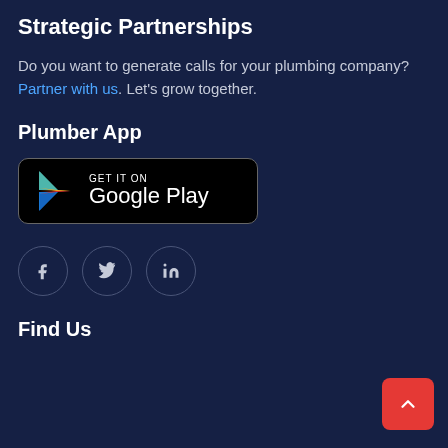Strategic Partnerships
Do you want to generate calls for your plumbing company? Partner with us. Let's grow together.
Plumber App
[Figure (logo): Google Play Store badge button with colorful play triangle icon, GET IT ON text, and Google Play text on black background with rounded corners]
[Figure (infographic): Three social media icon circles: Facebook (f), Twitter (bird), LinkedIn (in)]
[Figure (other): Red back-to-top button with upward chevron arrow in bottom right corner]
Find Us